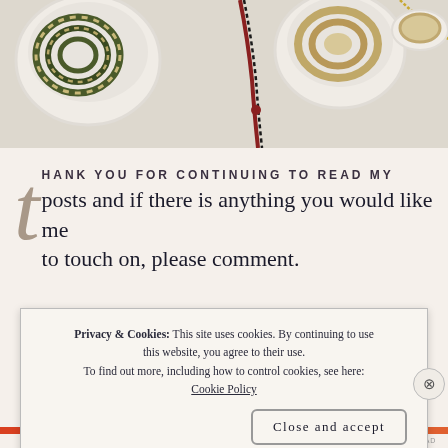[Figure (photo): Photo of decorative cords and ropes coiled in white bowls on a light surface, including green-striped, red-black braided, and beige twisted cords, along with a gold chain.]
Thank you for continuing to read my posts and if there is anything you would like me to touch on, please comment.
Privacy & Cookies: This site uses cookies. By continuing to use this website, you agree to their use.
To find out more, including how to control cookies, see here: Cookie Policy
Close and accept